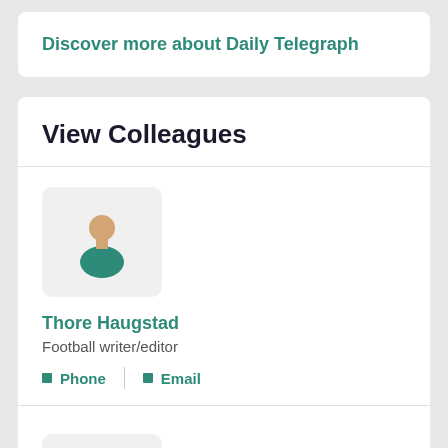Discover more about Daily Telegraph
View Colleagues
[Figure (illustration): Generic user avatar icon: person silhouette with teal shirt on light grey rounded square background]
Thore Haugstad
Football writer/editor
Phone | Email
[Figure (illustration): Generic user avatar icon: person silhouette with teal shirt on light grey rounded square background (partially visible)]